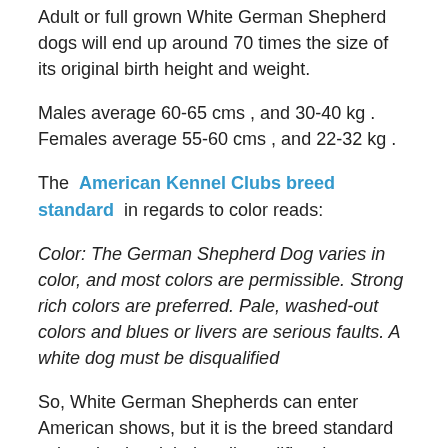Adult or full grown White German Shepherd dogs will end up around 70 times the size of its original birth height and weight.
Males average 60-65 cms , and 30-40 kg . Females average 55-60 cms , and 22-32 kg .
The American Kennel Clubs breed standard in regards to color reads:
Color: The German Shepherd Dog varies in color, and most colors are permissible. Strong rich colors are preferred. Pale, washed-out colors and blues or livers are serious faults. A white dog must be disqualified
So, White German Shepherds can enter American shows, but it is the breed standard written by the club that disqualifies them immediately.